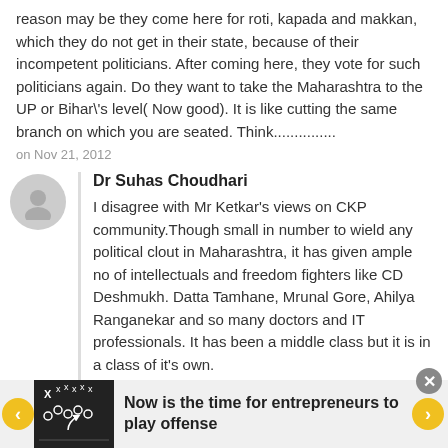reason may be they come here for roti, kapada and makkan, which they do not get in their state, because of their incompetent politicians. After coming here, they vote for such politicians again. Do they want to take the Maharashtra to the UP or Bihar\'s level( Now good). It is like cutting the same branch on which you are seated. Think...............
on Nov 21, 2012
Dr Suhas Choudhari
I disagree with Mr Ketkar's views on CKP community.Though small in number to wield any political clout in Maharashtra, it has given ample no of intellectuals and freedom fighters like CD Deshmukh. Datta Tamhane, Mrunal Gore, Ahilya Ranganekar and so many doctors and IT professionals. It has been a middle class but it is in a class of it's own.
on Nov 21, 2012
Jignesh
Now is the time for entrepreneurs to play offense